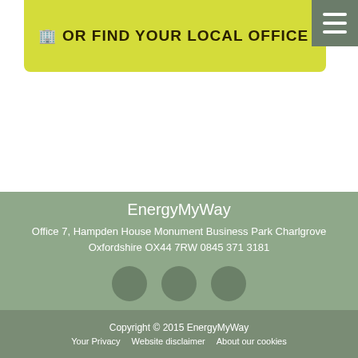OR FIND YOUR LOCAL OFFICE
[Figure (other): Hamburger menu button (three horizontal lines) on dark green/grey background]
EnergyMyWay
Office 7, Hampden House Monument Business Park Charlgrove Oxfordshire OX44 7RW 0845 371 3181
[Figure (other): Three circular social media icon placeholders in muted green]
Copyright © 2015 EnergyMyWay
Your Privacy   Website disclaimer   About our cookies